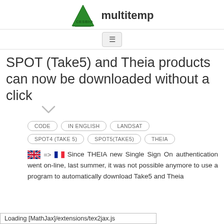CESBIO multitemp
SPOT (Take5) and Theia products can now be downloaded without a click
CODE
IN ENGLISH
LANDSAT
SPOT4 (TAKE 5)
SPOT5(TAKE5)
THEIA
Since THEIA new Single Sign On authentication went on-line, last summer, it was not possible anymore to use a program to automatically download Take5 and Theia
Loading [MathJax]/extensions/tex2jax.js